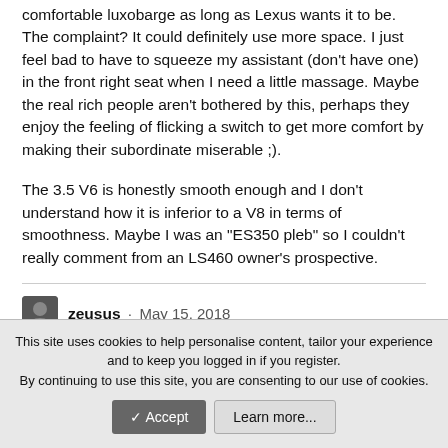comfortable luxobarge as long as Lexus wants it to be. The complaint? It could definitely use more space. I just feel bad to have to squeeze my assistant (don't have one) in the front right seat when I need a little massage. Maybe the real rich people aren't bothered by this, perhaps they enjoy the feeling of flicking a switch to get more comfort by making their subordinate miserable ;).
The 3.5 V6 is honestly smooth enough and I don't understand how it is inferior to a V8 in terms of smoothness. Maybe I was an "ES350 pleb" so I couldn't really comment from an LS460 owner's prospective.
zeusus · May 15, 2018
This site uses cookies to help personalise content, tailor your experience and to keep you logged in if you register.
By continuing to use this site, you are consenting to our use of cookies.